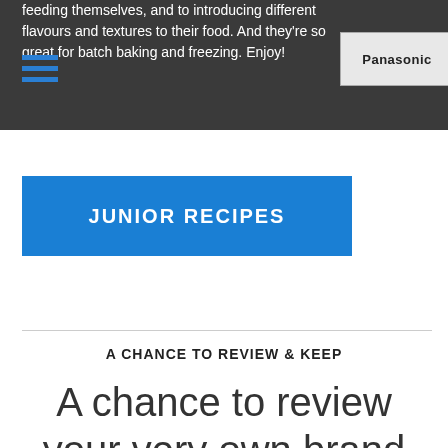feeding themselves, and to introducing different flavours and textures to their food. And they're so great for batch baking and freezing. Enjoy!
[Figure (logo): Panasonic logo badge]
JUNIOR RECIPES
A CHANCE TO REVIEW & KEEP
A chance to review your very own brand new combi microwave